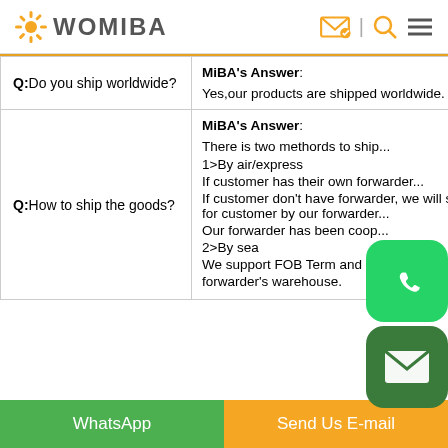WOMIBA
| Question | Answer |
| --- | --- |
| Q:Do you ship worldwide? | MiBA's Answer:
Yes,our products are shipped worldwide. |
| Q:How to ship the goods? | MiBA's Answer:
There is two methords to ship...
1>By air/express
If customer has their own forwarder...
If customer don't have forwarder, we will ship for customer by our forwarder...
Our forwarder has been cooperated...
2>By sea
We support FOB Term and EXW Term...
forwarder's warehouse. |
WhatsApp | Send Us E-mail